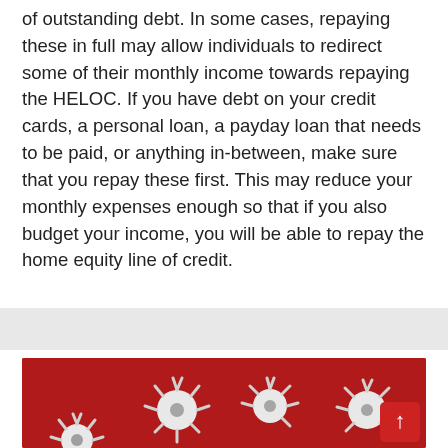of outstanding debt. In some cases, repaying these in full may allow individuals to redirect some of their monthly income towards repaying the HELOC. If you have debt on your credit cards, a personal loan, a payday loan that needs to be paid, or anything in-between, make sure that you repay these first. This may reduce your monthly expenses enough so that if you also budget your income, you will be able to repay the home equity line of credit.
[Figure (photo): Photo of white virus/pathogen particle models on a red background, with a red scroll-to-top button in the bottom right corner.]